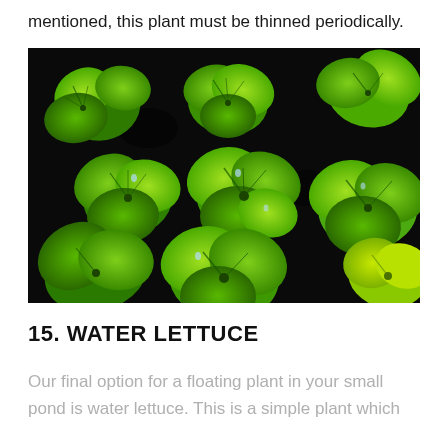mentioned, this plant must be thinned periodically.
[Figure (photo): Close-up photograph of water lettuce floating plants with bright green leaves arranged in rosette clusters against a dark background, multiple plants visible filling the frame]
15. WATER LETTUCE
Our final option for a floating plant in your small pond is water lettuce. This is a simple plant which